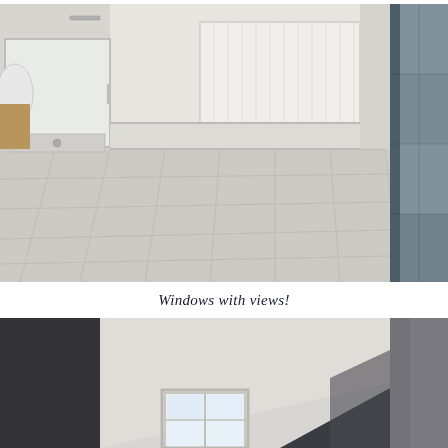[Figure (photo): Bathroom interior with white tiled floor, shower enclosure on the left, white radiator in the background, light-colored walls with horizontal tile border]
[Figure (photo): Close-up of grey/blue tiled wall, partially cropped on the right side]
Windows with views!
[Figure (photo): Interior room with angled ceiling, white walls, a ceiling light glowing orange/yellow, and a window with double doors letting in light from below]
[Figure (photo): Grey wall or ceiling surface, partially cropped on the right side]